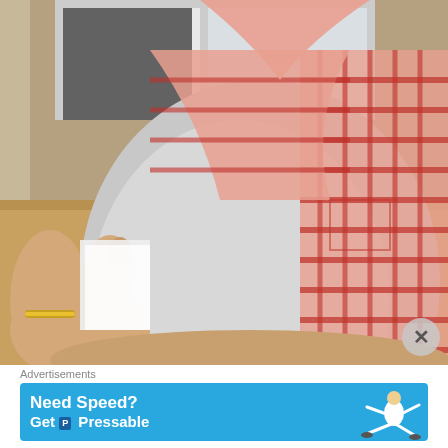[Figure (photo): Close-up photo of a person wearing a red and white plaid/checkered short-sleeve shirt over a white undershirt, seated. A gold bracelet is visible on their wrist. Part of a wooden surface and window visible in background.]
Advertisements
[Figure (infographic): Advertisement banner with blue background reading 'Need Speed? Get [P] Pressable' with an illustration of a running/diving soccer player figure in white.]